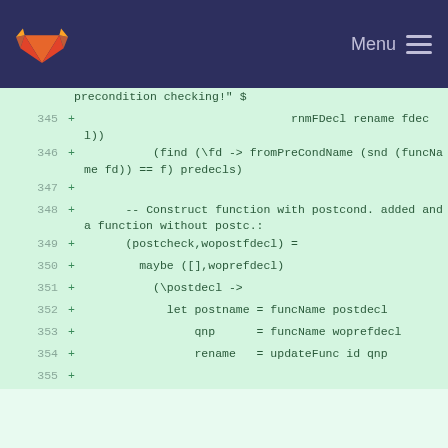GitLab Menu
precondition checking!" $
345 + rnmFDecl rename fdecl))
346 + (find (\fd -> fromPreCondName (snd (funcName fd)) == f) predecls)
347 +
348 + -- Construct function with postcond. added and a function without postc.:
349 + (postcheck,wopostfdecl) =
350 + maybe ([],woprefdecl)
351 + (\postdecl ->
352 + let postname = funcName postdecl
353 + qnp      = funcName woprefdecl
354 + rename   = updateFunc id qnp
355 +